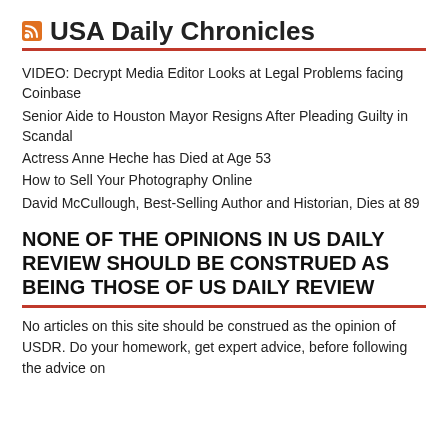USA Daily Chronicles
VIDEO: Decrypt Media Editor Looks at Legal Problems facing Coinbase
Senior Aide to Houston Mayor Resigns After Pleading Guilty in Scandal
Actress Anne Heche has Died at Age 53
How to Sell Your Photography Online
David McCullough, Best-Selling Author and Historian, Dies at 89
NONE OF THE OPINIONS IN US DAILY REVIEW SHOULD BE CONSTRUED AS BEING THOSE OF US DAILY REVIEW
No articles on this site should be construed as the opinion of USDR. Do your homework, get expert advice, before following the advice on